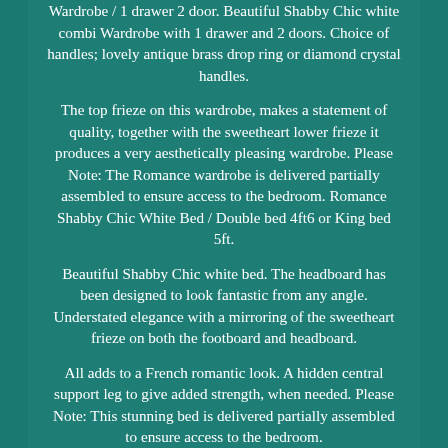Wardrobe / 1 drawer 2 door. Beautiful Shabby Chic white combi Wardrobe with 1 drawer and 2 doors. Choice of handles; lovely antique brass drop ring or diamond crystal handles.
The top frieze on this wardrobe, makes a statement of quality, together with the sweetheart lower frieze it produces a very aesthetically pleasing wardrobe. Please Note: The Romance wardrobe is delivered partially assembled to ensure access to the bedroom. Romance Shabby Chic White Bed / Double bed 4ft6 or King bed 5ft.
Beautiful Shabby Chic white bed. The headboard has been designed to look fantastic from any angle. Understated elegance with a mirroring of the sweetheart frieze on both the footboard and headboard.
All adds to a French romantic look. A hidden central support leg to give added strength, when needed. Please Note: This stunning bed is delivered partially assembled to ensure access to the bedroom.